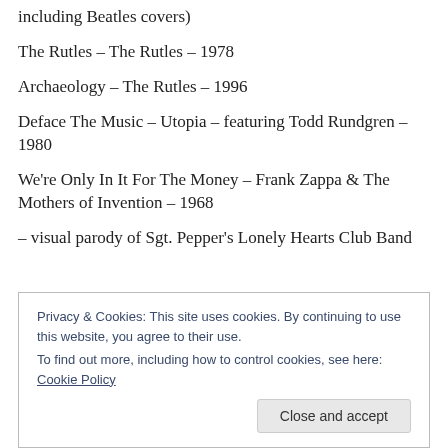including Beatles covers)
The Rutles – The Rutles – 1978
Archaeology – The Rutles – 1996
Deface The Music – Utopia – featuring Todd Rundgren – 1980
We're Only In It For The Money – Frank Zappa & The Mothers of Invention – 1968
– visual parody of Sgt. Pepper's Lonely Hearts Club Band
Privacy & Cookies: This site uses cookies. By continuing to use this website, you agree to their use.
To find out more, including how to control cookies, see here: Cookie Policy
Close and accept